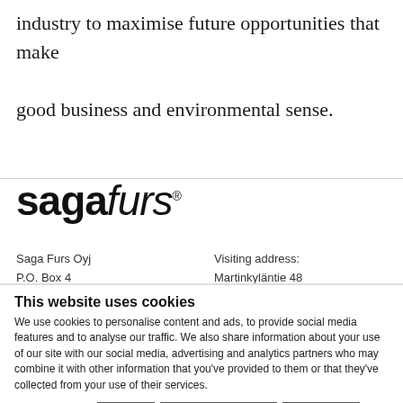industry to maximise future opportunities that make good business and environmental sense.
[Figure (logo): Saga Furs logo with bold 'saga' and light italic 'furs' and registered trademark symbol]
Saga Furs Oyj
P.O. Box 4
Visiting address:
Martinkyläntie 48
This website uses cookies
We use cookies to personalise content and ads, to provide social media features and to analyse our traffic. We also share information about your use of our site with our social media, advertising and analytics partners who may combine it with other information that you've provided to them or that they've collected from your use of their services.
Deny | Allow selection | Allow all
Necessary | Preferences | Statistics | Marketing | Show details